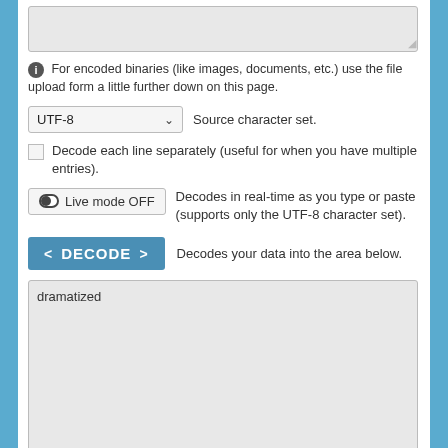[Figure (screenshot): Top textarea (input area, empty, gray background)]
For encoded binaries (like images, documents, etc.) use the file upload form a little further down on this page.
[Figure (screenshot): UTF-8 dropdown selector for Source character set]
Source character set.
Decode each line separately (useful for when you have multiple entries).
[Figure (screenshot): Live mode OFF toggle button]
Decodes in real-time as you type or paste (supports only the UTF-8 character set).
[Figure (screenshot): DECODE button with angle bracket arrows]
Decodes your data into the area below.
[Figure (screenshot): Output textarea showing decoded text 'dramatized']
Decode files from URL-encoded format